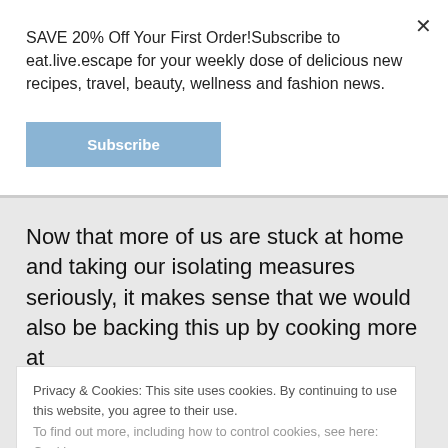SAVE 20% Off Your First Order!Subscribe to eat.live.escape for your weekly dose of delicious new recipes, travel, beauty, wellness and fashion news.
Subscribe
Now that more of us are stuck at home and taking our isolating measures seriously, it makes sense that we would also be backing this up by cooking more at
Privacy & Cookies: This site uses cookies. By continuing to use this website, you agree to their use.
To find out more, including how to control cookies, see here: Cookie